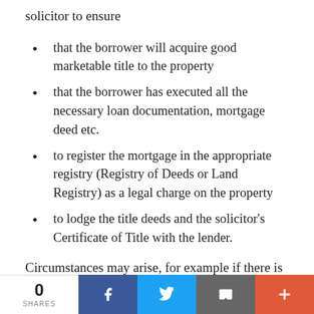solicitor to ensure
that the borrower will acquire good marketable title to the property
that the borrower has executed all the necessary loan documentation, mortgage deed etc.
to register the mortgage in the appropriate registry (Registry of Deeds or Land Registry) as a legal charge on the property
to lodge the title deeds and the solicitor's Certificate of Title with the lender.
Circumstances may arise, for example if there is